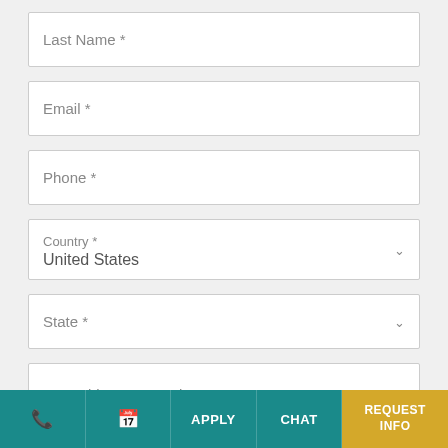Last Name *
Email *
Phone *
Country * United States
State *
How Did You Hear About Us?
I authorize American University and its
Phone | Calendar | APPLY | CHAT | REQUEST INFO